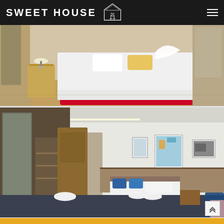SWEET HOUSE
[Figure (photo): Hotel bedroom with a large bed featuring a red base and white bedding, with a towel animal decoration on top. Wooden nightstand with lamp visible on the left. Warm-toned carpet and curtain area visible in background.]
[Figure (photo): Spacious hotel room with dark navy/charcoal bedspread on king bed with rolled white towels. A single bed with blue pillows in the background. Wooden headboard wall panel, built-in shelving, hardwood floor, framed artwork on white walls.]